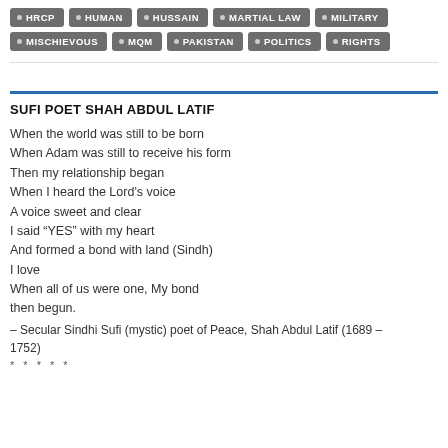HRCP • HUMAN • HUSSAIN • MARTIAL LAW • MILITARY • MISCHIEVOUS • MQM • PAKISTAN • POLITICS • RIGHTS
SUFI POET SHAH ABDUL LATIF
When the world was still to be born
When Adam was still to receive his form
Then my relationship began
When I heard the Lord’s voice
A voice sweet and clear
I said “YES” with my heart
And formed a bond with land (Sindh)
I love
When all of us were one, My bond
then begun.
– Secular Sindhi Sufi (mystic) poet of Peace, Shah Abdul Latif (1689 – 1752)
* * * * *
...